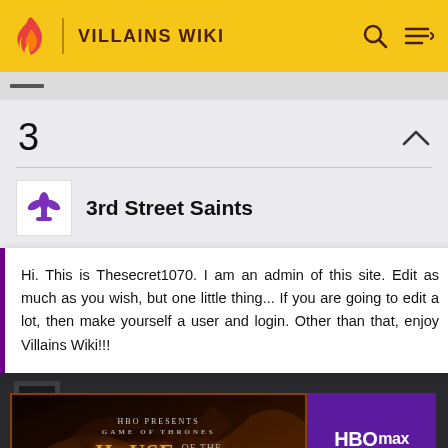VILLAINS WIKI
3
3rd Street Saints
Hi. This is Thesecret1070. I am an admin of this site. Edit as much as you wish, but one little thing... If you are going to edit a lot, then make yourself a user and login. Other than that, enjoy Villains Wiki!!!
8-Ball
[Figure (screenshot): Advertisement for HBO Max showing House of the Dragon / Game of Thrones promo with Sign Up Now button]
A